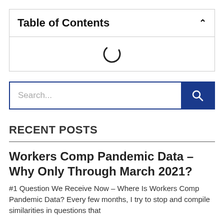Table of Contents
[Figure (other): Loading spinner icon (circular arc indicating loading state)]
RECENT POSTS
Workers Comp Pandemic Data – Why Only Through March 2021?
#1 Question We Receive Now – Where Is Workers Comp Pandemic Data? Every few months, I try to stop and compile similarities in questions that